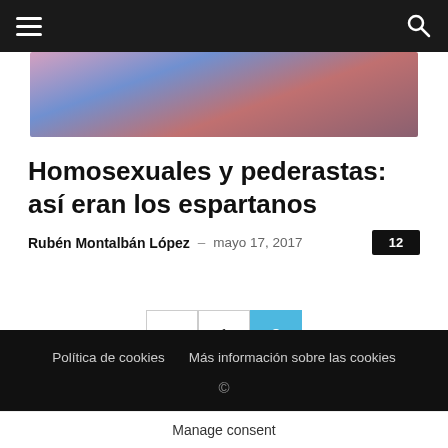Navigation bar with hamburger menu and search icon
[Figure (photo): Hero image with purple/blue and warm toned background, appears to be a landscape or abstract photo]
Homosexuales y pederastas: así eran los espartanos
Rubén Montalbán López – mayo 17, 2017   12
< 1 2 (pagination)
Política de cookies   Más información sobre las cookies   ©
Manage consent